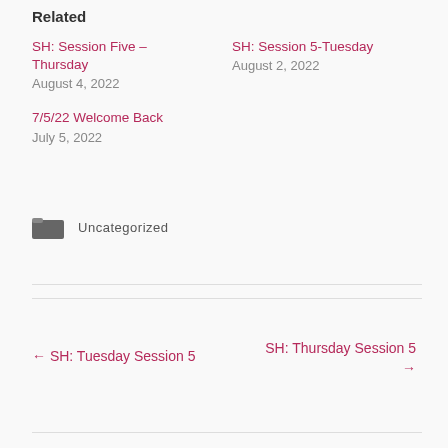Related
SH: Session Five – Thursday
August 4, 2022
SH: Session 5-Tuesday
August 2, 2022
7/5/22 Welcome Back
July 5, 2022
Uncategorized
← SH: Tuesday Session 5
SH: Thursday Session 5 →